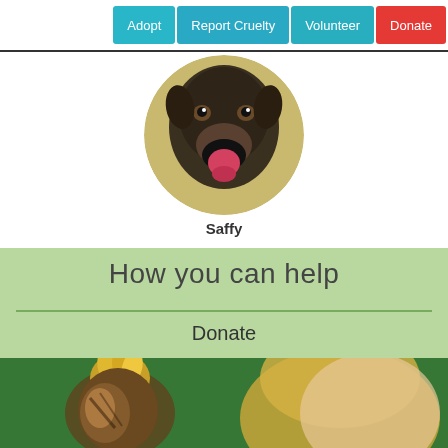[Figure (screenshot): Navigation bar with four buttons: Adopt (blue), Report Cruelty (blue), Volunteer (blue), Donate (red)]
[Figure (photo): Circular profile photo of a dog (Saffy) with mouth open and tongue out, dark fur, on a yellow-green background]
Saffy
How you can help
Donate
[Figure (photo): Photo of a small bird (chicken or chick) perched near a blonde-haired person, green background]